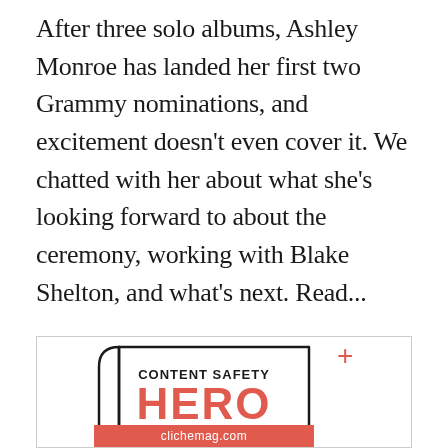After three solo albums, Ashley Monroe has landed her first two Grammy nominations, and excitement doesn't even cover it. We chatted with her about what she's looking forward to about the ceremony, working with Blake Shelton, and what's next. Read...
CONTINUE READING
[Figure (logo): Content Safety Hero badge with clichemag.com label and TRUSTWORTHY text at bottom]